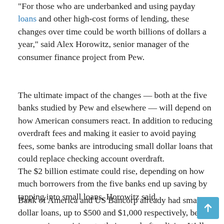"For those who are underbanked and using payday loans and other high-cost forms of lending, these changes over time could be worth billions of dollars a year," said Alex Horowitz, senior manager of the consumer finance project from Pew.
The ultimate impact of the changes — both at the five banks studied by Pew and elsewhere — will depend on how American consumers react. In addition to reducing overdraft fees and making it easier to avoid paying fees, some banks are introducing small dollar loans that could replace checking account overdraft.
The $2 billion estimate could rise, depending on how much borrowers from the five banks end up saving by tapping into small loans, Horowitz said.
Bank of America and US Bancorp already had small dollar loans, up to $500 and $1,000 respectively, before announcing revisions to their overdraft policies. Wells Fargo, Truist and Regions plan to roll out such loans, from $500 to $750, later